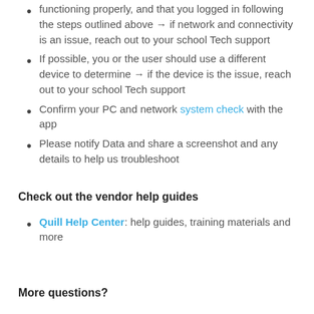functioning properly, and that you logged in following the steps outlined above → if network and connectivity is an issue, reach out to your school Tech support
If possible, you or the user should use a different device to determine → if the device is the issue, reach out to your school Tech support
Confirm your PC and network system check with the app
Please notify Data and share a screenshot and any details to help us troubleshoot
Check out the vendor help guides
Quill Help Center: help guides, training materials and more
More questions?